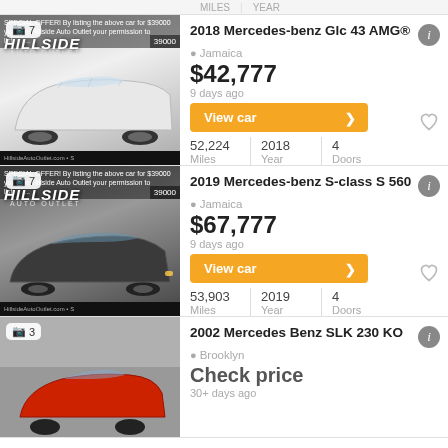[Figure (photo): Car listing photo for 2018 Mercedes-benz Glc 43 AMG - white SUV with Hillside Auto Outlet dealership logo, 7 photos badge, $39000 price overlay]
2018 Mercedes-benz Glc 43 AMG®
Jamaica
$42,777
9 days ago
View car >
52,224 Miles | 2018 Year | 4 Doors
[Figure (photo): Car listing photo for 2019 Mercedes-benz S-class S 560 - black sedan with Hillside Auto Outlet dealership logo, 7 photos badge, $39000 price overlay]
2019 Mercedes-benz S-class S 560
Jamaica
$67,777
9 days ago
View car >
53,903 Miles | 2019 Year | 4 Doors
[Figure (photo): Car listing photo for 2002 Mercedes Benz SLK 230 KO - red sports car, 3 photos badge]
2002 Mercedes Benz SLK 230 KO
Brooklyn
Check price
30+ days ago